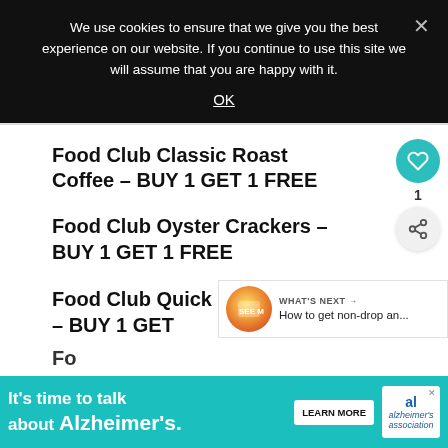We use cookies to ensure that we give you the best experience on our website. If you continue to use this site we will assume that you are happy with it.
OK
Food Club Classic Roast Coffee – BUY 1 GET 1 FREE
Food Club Oyster Crackers – BUY 1 GET 1 FREE
Food Club Quick Oats – BUY 1 GET
WHAT'S NEXT → How to get non-drop an...
It's time to talk about Alzheimer's.
LEARN MORE